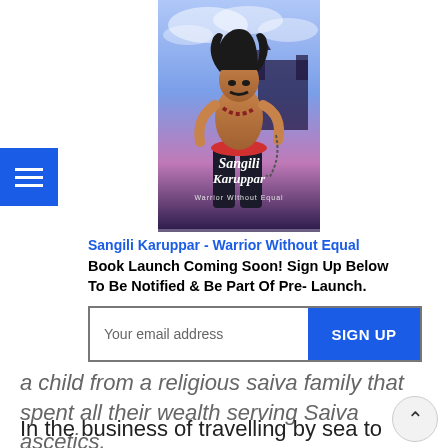[Figure (illustration): Book cover of 'Sangili Karuppar - Warrior Without Equal' showing a muscular warrior figure with beads, red sash, dark pants, against a dramatic blue-purple mystical background with a castle silhouette. Text on cover reads 'Sangili Karuppar' in ornate script and 'Warrior Without Equal' below.]
Sangili Karuppar - Warrior Without Equal
Book Launch Coming Soon! Sign Up Below To Be Notified & Be Part Of Pre- Launch.
a child from a religious saiva family that spent all their wealth serving Saiva ascetics.
In the business of travelling by sea to various ports all over the world, Thiruvengadar, and later through his son amassed great wealth from the